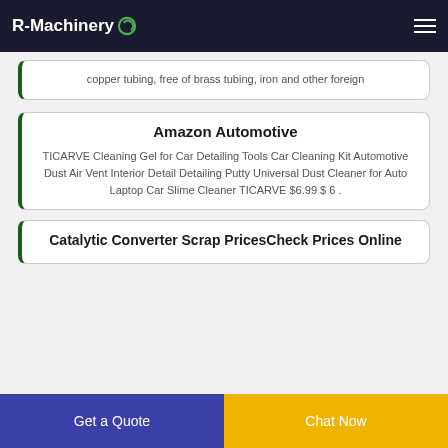R-Machinery
copper tubing, free of brass tubing, iron and other foreign
Amazon Automotive
TICARVE Cleaning Gel for Car Detailing Tools Car Cleaning Kit Automotive Dust Air Vent Interior Detail Detailing Putty Universal Dust Cleaner for Auto Laptop Car Slime Cleaner TICARVE $6.99 $ 6 .
Catalytic Converter Scrap PricesCheck Prices Online
Get a Quote
Chat Now